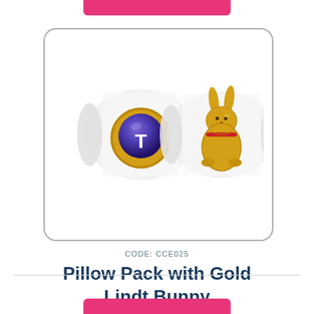[Figure (photo): Two pillow pack chocolates side by side on white background: left one has a Telstra-branded round chocolate on a clear pillow pack, right one has a gold Lindt bunny chocolate on a clear pillow pack. Both wrapped in transparent plastic pillow packaging.]
CODE: CCE025
Pillow Pack with Gold Lindt Bunny